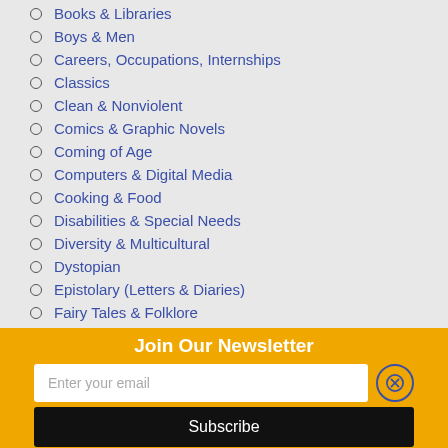Books & Libraries
Boys & Men
Careers, Occupations, Internships
Classics
Clean & Nonviolent
Comics & Graphic Novels
Coming of Age
Computers & Digital Media
Cooking & Food
Disabilities & Special Needs
Diversity & Multicultural
Dystopian
Epistolary (Letters & Diaries)
Fairy Tales & Folklore
Family
Fantasy
Fashion & Beauty
Join Our Newsletter
Enter your email
Subscribe